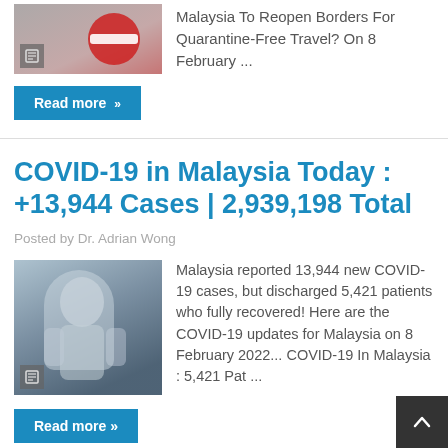[Figure (photo): Thumbnail image with red circular no-entry sign and a news article icon overlay]
Malaysia To Reopen Borders For Quarantine-Free Travel? On 8 February ...
Read more »
COVID-19 in Malaysia Today : +13,944 Cases | 2,939,198 Total
Posted by Dr. Adrian Wong
[Figure (photo): Healthcare worker in full PPE protective equipment]
Malaysia reported 13,944 new COVID-19 cases, but discharged 5,421 patients who fully recovered! Here are the COVID-19 updates for Malaysia on 8 February 2022... COVID-19 In Malaysia : 5,421 Pat ...
Read more »
COVID-19 in Malaysia Today : +11,034